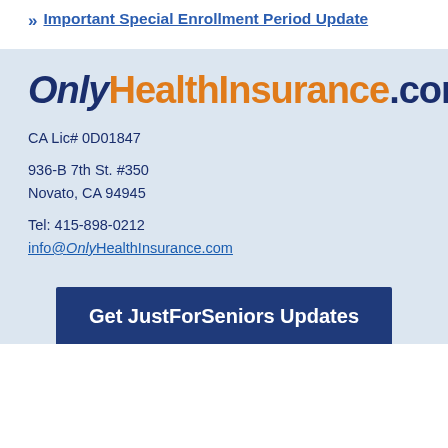Important Special Enrollment Period Update
[Figure (logo): OnlyHealthInsurance.com logo in italic bold font, 'Only' in dark navy italic, 'HealthInsurance' in orange, '.com' in dark navy]
CA Lic# 0D01847
936-B 7th St. #350
Novato, CA 94945
Tel: 415-898-0212
info@OnlyHealthInsurance.com
Get JustForSeniors Updates